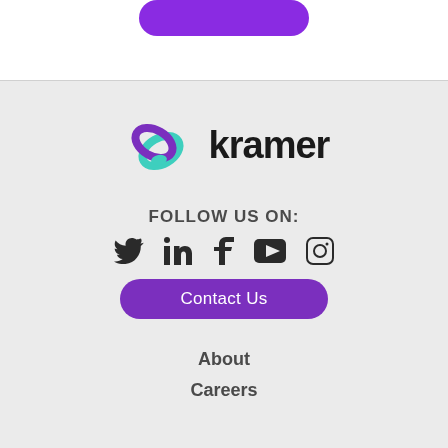[Figure (logo): Purple button at top of page (partially visible)]
[Figure (logo): Kramer logo with interlocking rings icon in purple and teal, with 'kramer' text in bold black]
FOLLOW US ON:
[Figure (infographic): Social media icons: Twitter, LinkedIn, Facebook, YouTube, Instagram]
Contact Us
About
Careers